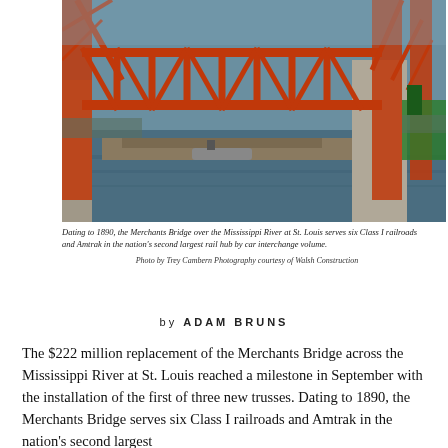[Figure (photo): Aerial view of the Merchants Bridge over the Mississippi River at St. Louis, showing an orange/red truss bridge span being installed using large red crane structures on barges in the water, with construction equipment and workers visible.]
Dating to 1890, the Merchants Bridge over the Mississippi River at St. Louis serves six Class I railroads and Amtrak in the nation's second largest rail hub by car interchange volume.
Photo by Trey Cambern Photography courtesy of Walsh Construction
by ADAM BRUNS
The $222 million replacement of the Merchants Bridge across the Mississippi River at St. Louis reached a milestone in September with the installation of the first of three new trusses. Dating to 1890, the Merchants Bridge serves six Class I railroads and Amtrak in the nation's second largest rail hub by car interchange volume.